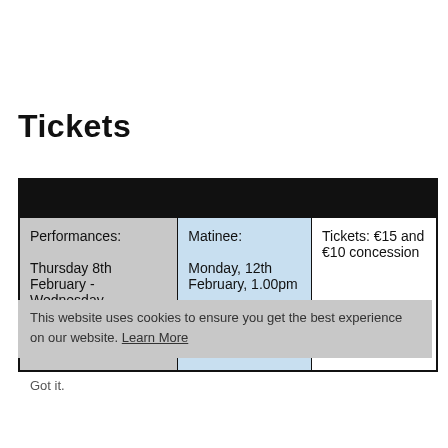Tickets
|  |  |  |
| --- | --- | --- |
| Performances:
Thursday 8th February - Wednesday 14th February, 7.45pm | Matinee:
Monday, 12th February, 1.00pm | Tickets: €15 and €10 concession |
This website uses cookies to ensure you get the best experience on our website. Learn More
Got it.